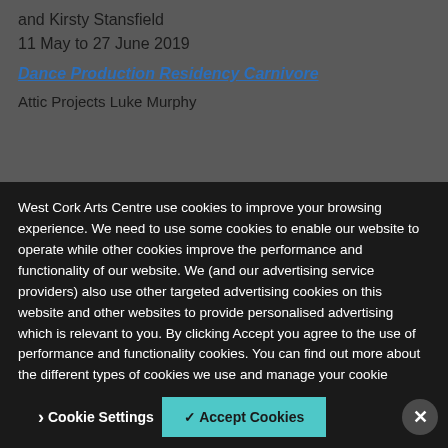and Kirsty Stansfield
11 May to 27 June 2019
Dance Production Residency Carnivore
Attic Projects Luke Murphy
West Cork Arts Centre use cookies to improve your browsing experience. We need to use some cookies to enable our website to operate while other cookies improve the performance and functionality of our website. We (and our advertising service providers) also use other targeted advertising cookies on this website and other websites to provide personalised advertising which is relevant to you. By clicking Accept you agree to the use of performance and functionality cookies. You can find out more about the different types of cookies we use and manage your cookie settings on this website by clicking Manage Cookie Settings. To find out more about how we use cookies please read our Privacy Policy
Cookie Settings
✓ Accept Cookies